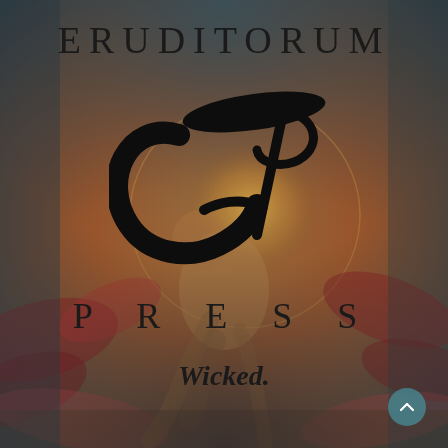[Figure (illustration): Background illustration of a crouching figure (in the style of William Blake) surrounded by red/rose petal clouds, with warm golden and dark muted teal tones. The figure is muscular, hunched forward, reaching down with hands. A circular golden halo or sun shape is behind the figure.]
ERUDITORUM
[Figure (logo): Eruditorum Press stylized 'EP' cursive/calligraphic logo in black, featuring sweeping curved strokes forming an ornate EP monogram with an elongated oval accent stroke above.]
PRESS
Wicked.